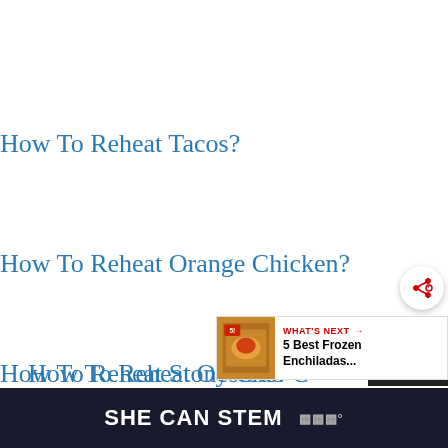How To Reheat Taco Bell Burrito?
How To Reheat Tacos?
How To Reheat Orange Chicken?
How To Reheat Oysters?
How To Reheat Stone Crab C…
[Figure (other): Website overlay: 'WHAT'S NEXT' widget showing '5 Best Frozen Enchiladas...' with food thumbnail image, and a share button with arrow/plus icon]
SHE CAN STEM